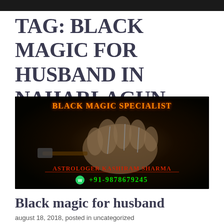TAG: BLACK MAGIC FOR HUSBAND IN NAHARLAGUN
[Figure (photo): Dark image of a voodoo doll (knitted glove with nails) on black background. Text overlay: 'BLACK MAGIC SPECIALIST' in orange, 'ASTROLOGER KASHIRAM SHARMA' in red with underline, and WhatsApp icon with '+91-9878679245' in green.]
Black magic for husband
august 18, 2018, posted in uncategorized